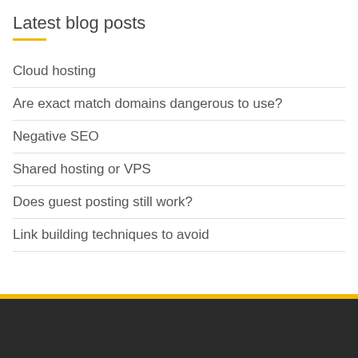Latest blog posts
Cloud hosting
Are exact match domains dangerous to use?
Negative SEO
Shared hosting or VPS
Does guest posting still work?
Link building techniques to avoid